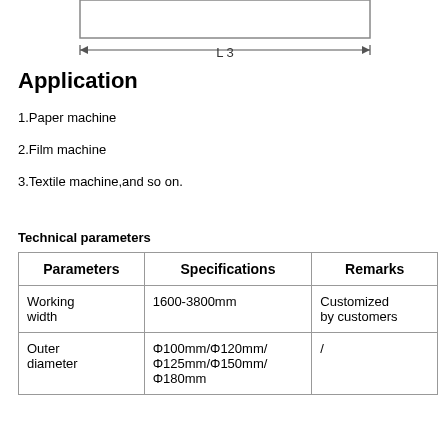[Figure (engineering-diagram): Engineering drawing showing dimension L3 with arrow lines indicating length]
Application
1.Paper machine
2.Film machine
3.Textile machine,and so on.
Technical parameters
| Parameters | Specifications | Remarks |
| --- | --- | --- |
| Working width | 1600-3800mm | Customized by customers |
| Outer diameter | Φ100mm/Φ120mm/Φ125mm/Φ150mm/Φ180mm | / |